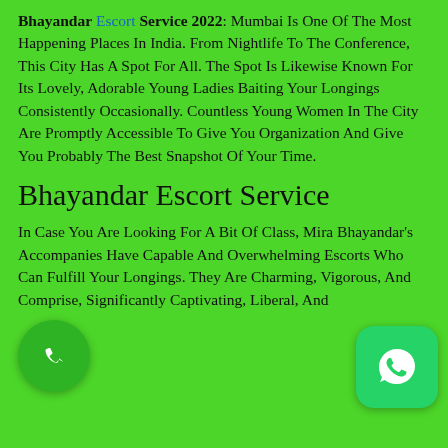Bhayandar Escort Service 2022: Mumbai Is One Of The Most Happening Places In India. From Nightlife To The Conference, This City Has A Spot For All. The Spot Is Likewise Known For Its Lovely, Adorable Young Ladies Baiting Your Longings Consistently Occasionally. Countless Young Women In The City Are Promptly Accessible To Give You Organization And Give You Probably The Best Snapshot Of Your Time.
Bhayandar Escort Service
In Case You Are Looking For A Bit Of Class, Mira Bhayandar's Accompanies Have Capable And Overwhelming Escorts Who Can Fulfill Your Longings. They Are Charming, Vigorous, And Comprise, Significantly Captivating, Liberal, And